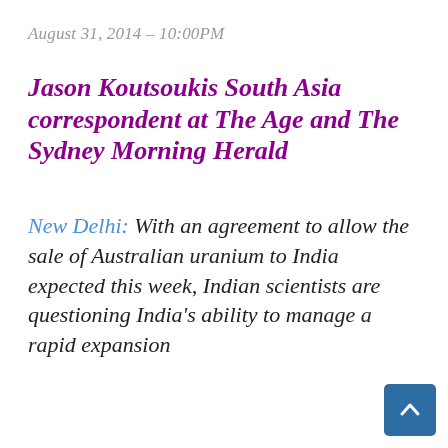August 31, 2014 – 10:00PM
Jason Koutsoukis South Asia correspondent at The Age and The Sydney Morning Herald
New Delhi: With an agreement to allow the sale of Australian uranium to India expected this week, Indian scientists are questioning India's ability to manage a rapid expansion